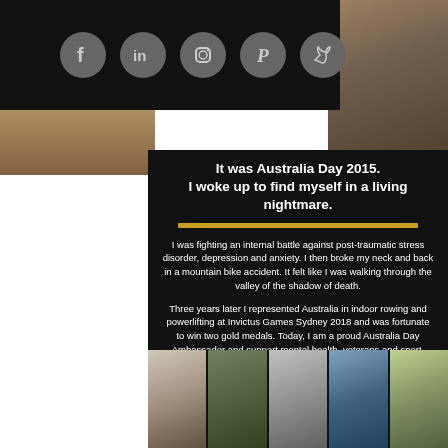[Figure (infographic): Social media icons bar (Facebook, LinkedIn, Instagram, Pinterest, Twitter) on black background at top left]
[Figure (photo): Stone wall/texture photo at top right]
It was Australia Day 2015.
I woke up to find myself in a living nightmare.
I was fighting an internal battle against post-traumatic stress disorder, depression and anxiety. I then broke my neck and back in a mountain bike accident. It felt like I was walking through the valley of the shadow of death.
Three years later I represented Australia in indoor rowing and powerlifting at Invictus Games Sydney 2018 and was fortunate to win two gold medals. Today, I am a proud Australia Day Ambassador and support mental health, veterans and sport.
[Figure (photo): Strip of five photos at the bottom showing military/sport scenes of the Australia Day Ambassador]